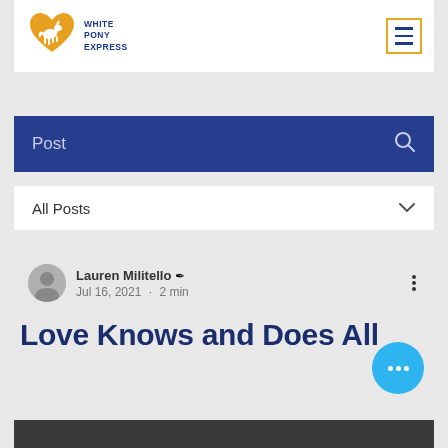[Figure (logo): White Pony Express logo - orange heart shape with white pony silhouette, text reads WHITE PONY EXPRESS]
Post
All Posts
Lauren Militello ✒ Jul 16, 2021 · 2 min
Love Knows and Does All